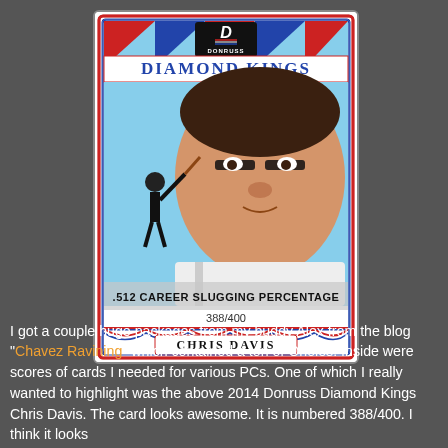[Figure (photo): 2014 Donruss Diamond Kings baseball card featuring Chris Davis. Card shows a close-up portrait of Chris Davis with a smaller full-body batting action shot. Text on card reads 'DIAMOND KINGS', '.512 CAREER SLUGGING PERCENTAGE', '388/400', 'CHRIS DAVIS'. Card has red, white, and blue bunting decoration at top and bottom.]
I got a couple huge packages from my buddy Alex from the blog "Chavez Ravining" which contained a ton of Orioles.  Inside were scores of cards I needed for various PCs.  One of which I really wanted to highlight was the above 2014 Donruss Diamond Kings Chris Davis.  The card looks awesome.  It is numbered 388/400.  I think it looks